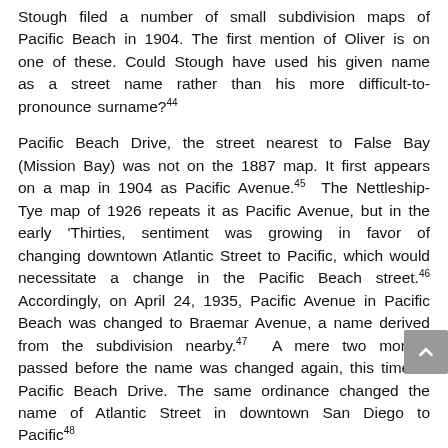Stough filed a number of small subdivision maps of Pacific Beach in 1904. The first mention of Oliver is on one of these. Could Stough have used his given name as a street name rather than his more difficult-to-pronounce surname?44
Pacific Beach Drive, the street nearest to False Bay (Mission Bay) was not on the 1887 map. It first appears on a map in 1904 as Pacific Avenue.45 The Nettleship-Tye map of 1926 repeats it as Pacific Avenue, but in the early 'Thirties, sentiment was growing in favor of changing downtown Atlantic Street to Pacific, which would necessitate a change in the Pacific Beach street.46 Accordingly, on April 24, 1935, Pacific Avenue in Pacific Beach was changed to Braemar Avenue, a name derived from the subdivision nearby.47 A mere two months passed before the name was changed again, this time to Pacific Beach Drive. The same ordinance changed the name of Atlantic Street in downtown San Diego to Pacific48